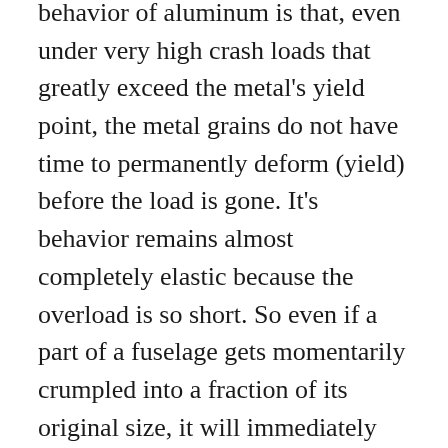A little known fact about about the crash behavior of aluminum is that, even under very high crash loads that greatly exceed the metal's yield point, the metal grains do not have time to permanently deform (yield) before the load is gone. It's behavior remains almost completely elastic because the overload is so short. So even if a part of a fuselage gets momentarily crumpled into a fraction of its original size, it will immediately spring back almost to its original shape, with little evidence of what it has been through. Controlled crash tests by NASA with high speed cameras have documented this fact.
This makes it difficult to look at a post-